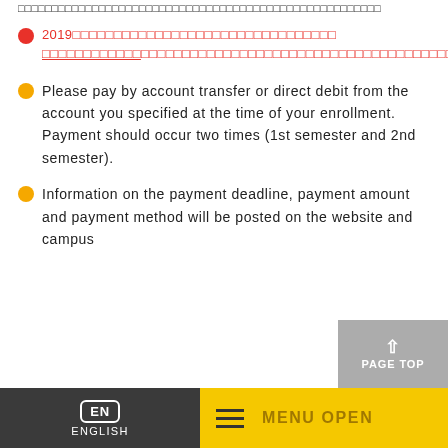□□□□□□□□□□□□□□□□□□□□□□□□□□□□□□□□□□□□□□□□□□□□□□
2019□□□□□□□□□□□□□□□□□□□□□□□□□□□□□□□□□□□□□□□□□□□□□□□□□□□□□□□□□□□□□□□□□□□□□□□□□□□□□□□□□□□□□□□□□□□□□□□□□□□
Please pay by account transfer or direct debit from the account you specified at the time of your enrollment. Payment should occur two times (1st semester and 2nd semester).
Information on the payment deadline, payment amount and payment method will be posted on the website and campus
EN ENGLISH   MENU OPEN